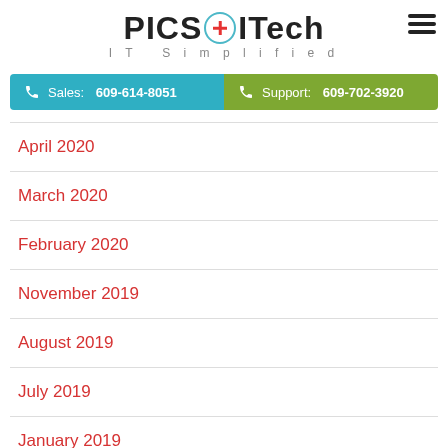PICS ITech IT Simplified
Sales: 609-614-8051 | Support: 609-702-3920
April 2020
March 2020
February 2020
November 2019
August 2019
July 2019
January 2019